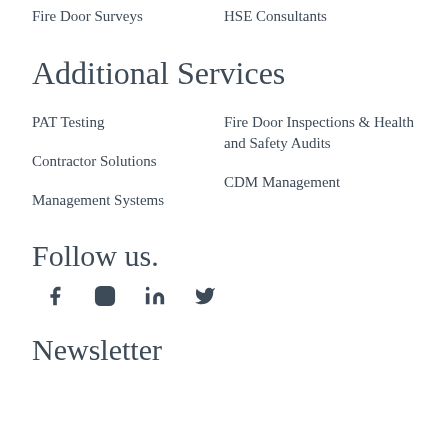Fire Door Surveys
HSE Consultants
Additional Services
PAT Testing
Fire Door Inspections & Health and Safety Audits
Contractor Solutions
CDM Management
Management Systems
Follow us.
[Figure (infographic): Social media icons: Facebook, Instagram, LinkedIn, Twitter]
Newsletter